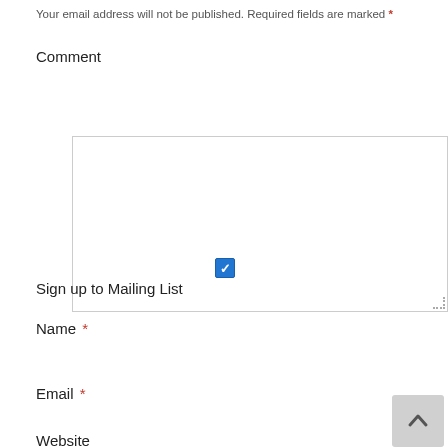Your email address will not be published. Required fields are marked *
Comment
Sign up to Mailing List
Name *
Email *
Website